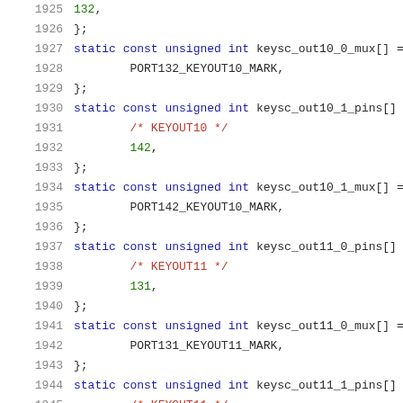Source code listing, lines 1925-1945, C code for keysc pin/mux arrays
1925    132,
1926    };
1927    static const unsigned int keysc_out10_0_mux[] =
1928            PORT132_KEYOUT10_MARK,
1929    };
1930    static const unsigned int keysc_out10_1_pins[]
1931            /* KEYOUT10 */
1932            142,
1933    };
1934    static const unsigned int keysc_out10_1_mux[] =
1935            PORT142_KEYOUT10_MARK,
1936    };
1937    static const unsigned int keysc_out11_0_pins[]
1938            /* KEYOUT11 */
1939            131,
1940    };
1941    static const unsigned int keysc_out11_0_mux[] =
1942            PORT131_KEYOUT11_MARK,
1943    };
1944    static const unsigned int keysc_out11_1_pins[]
1945            /* KEYOUT11 */